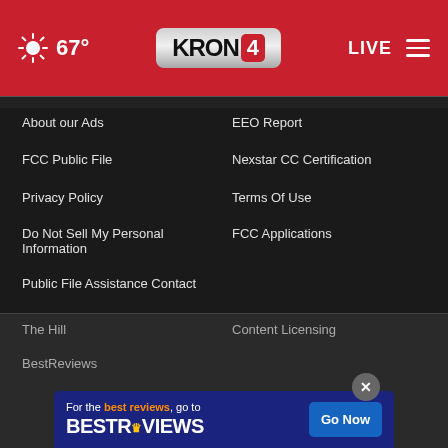KRON 4 — 67° — LIVE
About our Ads
EEO Report
FCC Public File
Nexstar CC Certification
Privacy Policy
Terms Of Use
Do Not Sell My Personal Information
FCC Applications
Public File Assistance Contact
The Hill
Content Licensing
BestReviews
[Figure (screenshot): BestReviews advertisement banner: 'For the best reviews, go to BESTREVIEWS' with a 'Go Now' button on dark blue background.]